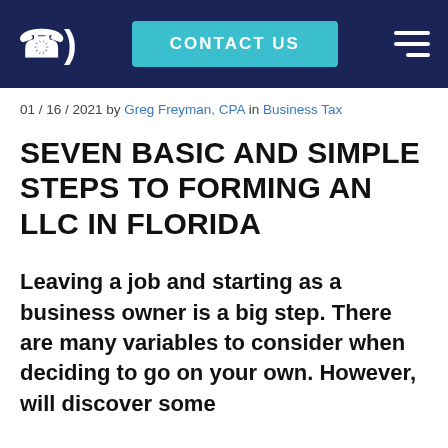CONTACT US
01 / 16 / 2021 by Greg Freyman, CPA in Business Tax
SEVEN BASIC AND SIMPLE STEPS TO FORMING AN LLC IN FLORIDA
Leaving a job and starting as a business owner is a big step. There are many variables to consider when deciding to go on your own. However, will discover some...